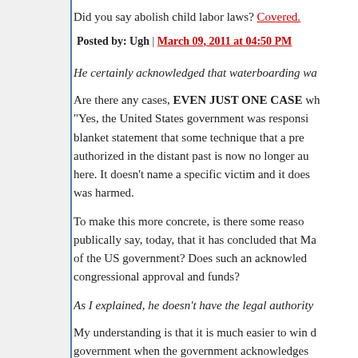Did you say abolish child labor laws? Covered.
Posted by: Ugh | March 09, 2011 at 04:50 PM
He certainly acknowledged that waterboarding wa...
Are there any cases, EVEN JUST ONE CASE wh... "Yes, the United States government was responsi... blanket statement that some technique that a pre... authorized in the distant past is now no longer au... here. It doesn't name a specific victim and it does... was harmed.
To make this more concrete, is there some reaso... publically say, today, that it has concluded that Ma... of the US government? Does such an acknowled... congressional approval and funds?
As I explained, he doesn't have the legal authority...
My understanding is that it is much easier to win d... government when the government acknowledges... using every possible method to delay and block ju... requirement that the government raise the state...